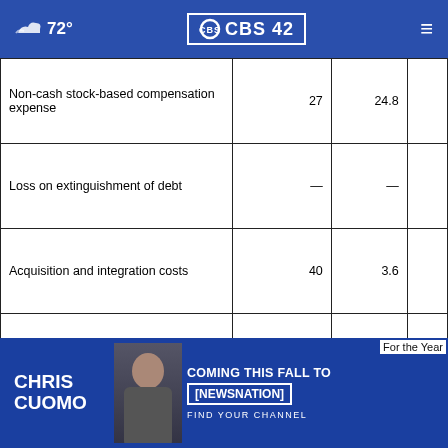72° CBS 42
|  |  |  |  |
| --- | --- | --- | --- |
| Non-cash stock-based compensation expense | 27 | 24.8 |  |
| Loss on extinguishment of debt | — | — |  |
| Acquisition and integration costs | 40 | 3.6 |  |
| Bargain purchase gain | — | (3.5) |  |
| Adjusted EBITDA | $ 850-875 | $ 931.3 | $ |
[Figure (screenshot): CBS 42 advertisement for Chris Cuomo coming to NewsNation this fall, with photo of Chris Cuomo and text 'For the Year']